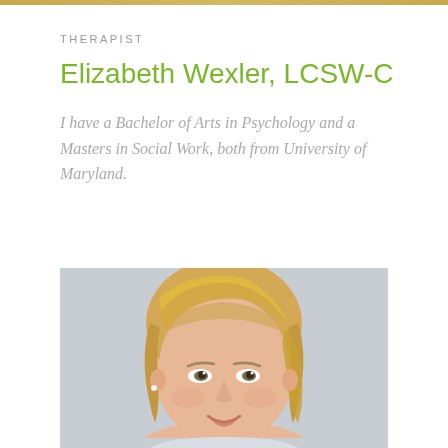THERAPIST
Elizabeth Wexler, LCSW-C
I have a Bachelor of Arts in Psychology and a Masters in Social Work, both from University of Maryland.
[Figure (photo): Professional headshot of Elizabeth Wexler, a blonde woman smiling, photographed against a light gray background.]